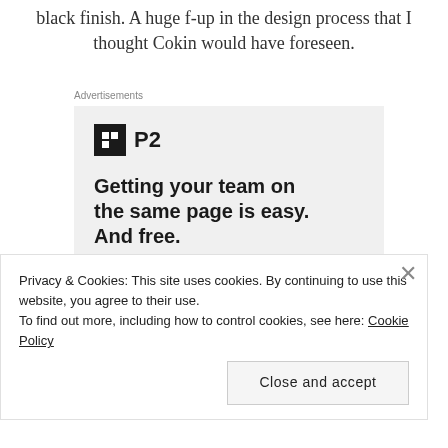black finish. A huge f-up in the design process that I thought Cokin would have foreseen.
[Figure (other): Advertisement for P2 with logo, headline 'Getting your team on the same page is easy. And free.' and user avatars at the bottom]
Privacy & Cookies: This site uses cookies. By continuing to use this website, you agree to their use.
To find out more, including how to control cookies, see here: Cookie Policy
Close and accept